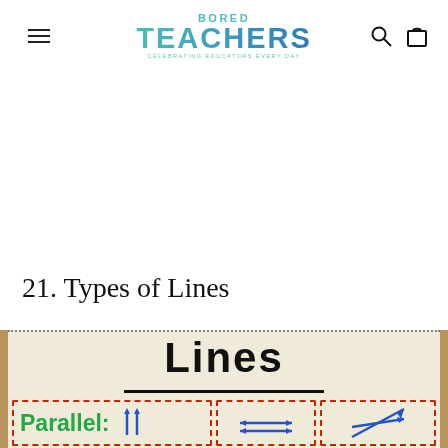BORED TEACHERS — Celebrating Educators Every Day
21. Types of Lines
[Figure (photo): Anchor chart showing 'Lines' written in large hand-lettered font with an underline, and the beginning of sections for Parallel lines with green lettering, and other types of lines with arrows, all bordered by red dashed boxes.]